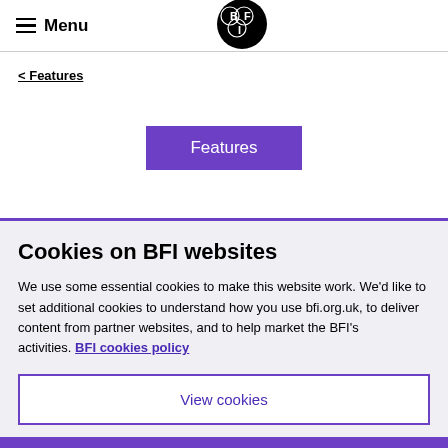Menu  BFI logo
< Features
Features
Cookies on BFI websites
We use some essential cookies to make this website work. We'd like to set additional cookies to understand how you use bfi.org.uk, to deliver content from partner websites, and to help market the BFI's activities. BFI cookies policy
View cookies